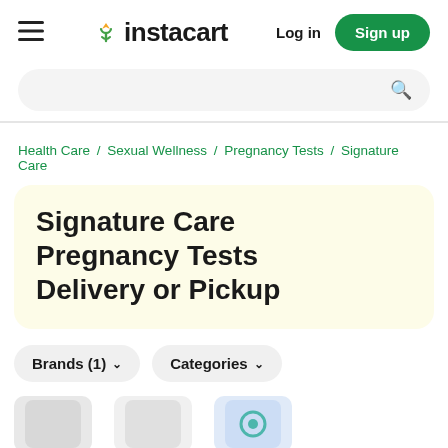≡ instacart  Log in  Sign up
Search bar
Health Care / Sexual Wellness / Pregnancy Tests / Signature Care
Signature Care Pregnancy Tests Delivery or Pickup
Brands (1) ∨   Categories ∨